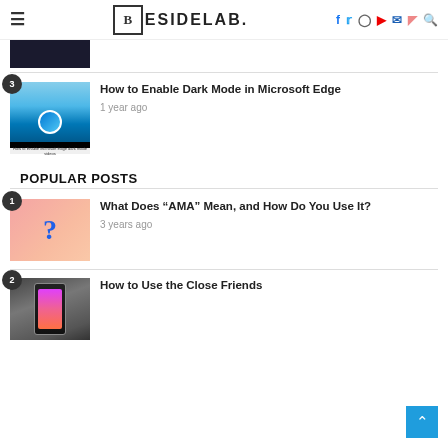BESIDELAB.
[Figure (screenshot): Thumbnail image of a dark scene (partially visible at top)]
[Figure (screenshot): Microsoft Edge dark mode screenshot showing landscape wallpaper with Edge logo]
How to Enable Dark Mode in Microsoft Edge
1 year ago
POPULAR POSTS
[Figure (photo): Pink gradient background with blue 3D question mark]
What Does “AMA” Mean, and How Do You Use It?
3 years ago
[Figure (photo): Smartphone on dark surface showing colorful app icons]
How to Use the Close Friends